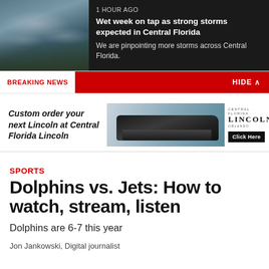[Figure (photo): Dark stormy clouds over trees]
1 HOUR AGO
Wet week on tap as strong storms expected in Central Florida
We are pinpointing more storms across Central Florida.
BREAKING NEWS
HIDE ^
[Figure (photo): Advertisement: Custom order your next Lincoln at Central Florida Lincoln – shows a black Lincoln SUV with Lincoln Orlando branding and Click Here button]
SPORTS
Dolphins vs. Jets: How to watch, stream, listen
Dolphins are 6-7 this year
Jon Jankowski, Digital journalist